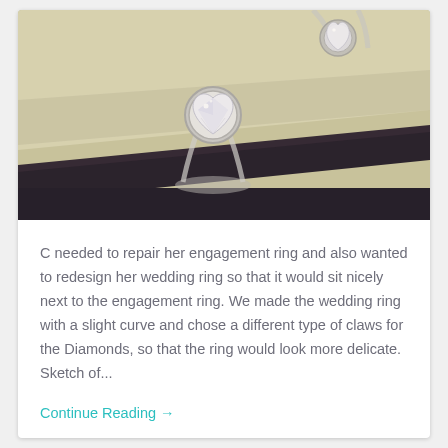[Figure (photo): Close-up photo of two diamond rings (heart-shaped diamond solitaire and another ring) resting on a cream/beige ring box with a dark diagonal divider. Warm vintage-toned photograph.]
C needed to repair her engagement ring and also wanted to redesign her wedding ring so that it would sit nicely next to the engagement ring. We made the wedding ring with a slight curve and chose a different type of claws for the Diamonds, so that the ring would look more delicate. Sketch of...
Continue Reading →